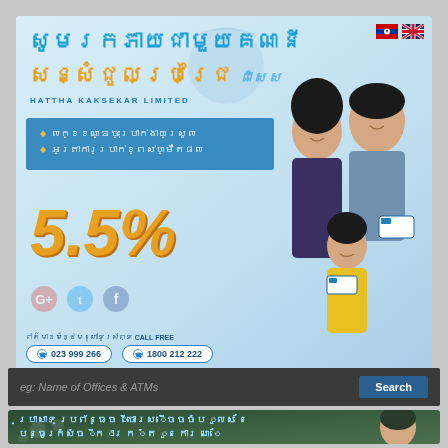[Figure (infographic): Bank advertisement banner in Khmer language featuring a smiling family (man, woman, child) holding bank cards. Features text in Khmer and a large 5.5% interest rate display. Blue color scheme with gold accents. Contact numbers 023 999 266 and 1800 212 222 shown at bottom of banner.]
eg: Name of Offices & ATMs
Search
[Figure (photo): Bottom banner showing a smiling man in a warehouse/grain storage facility with text in Khmer language overlay in light blue color.]